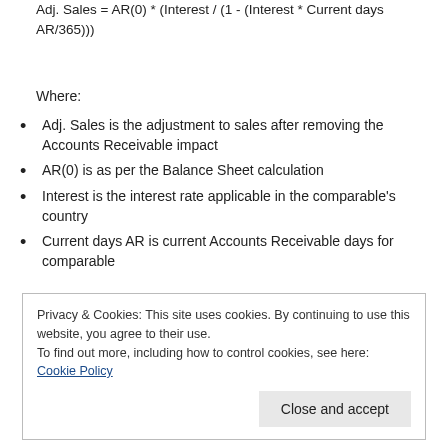Adj. Sales = AR(0) * (Interest / (1 - (Interest * Current days AR/365)))
Where:
Adj. Sales is the adjustment to sales after removing the Accounts Receivable impact
AR(0) is as per the Balance Sheet calculation
Interest is the interest rate applicable in the comparable's country
Current days AR is current Accounts Receivable days for comparable
Privacy & Cookies: This site uses cookies. By continuing to use this website, you agree to their use.
To find out more, including how to control cookies, see here: Cookie Policy